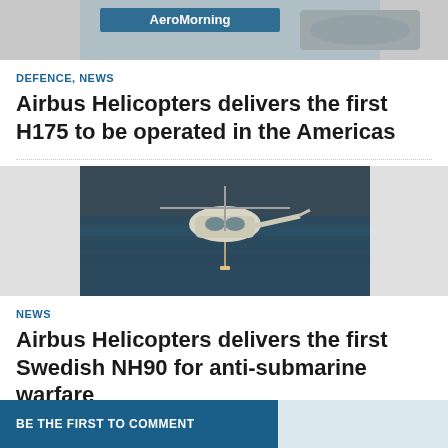[Figure (photo): AeroMorning website banner with aircraft image and logo text 'AeroMorning']
DEFENCE, NEWS
Airbus Helicopters delivers the first H175 to be operated in the Americas
[Figure (photo): White military helicopter flying over dark ocean water]
NEWS
Airbus Helicopters delivers the first Swedish NH90 for anti-submarine warfare
BE THE FIRST TO COMMENT